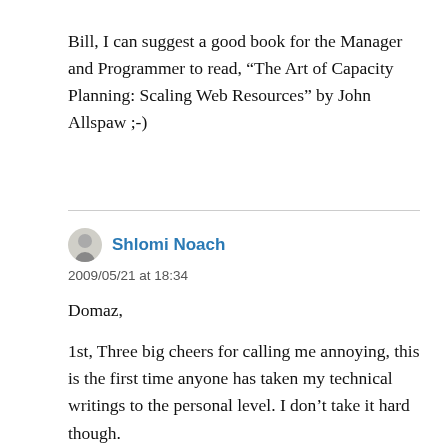Bill, I can suggest a good book for the Manager and Programmer to read, “The Art of Capacity Planning: Scaling Web Resources” by John Allspaw ;-)
Shlomi Noach
2009/05/21 at 18:34
Domaz,

1st, Three big cheers for calling me annoying, this is the first time anyone has taken my technical writings to the personal level. I don’t take it hard though.